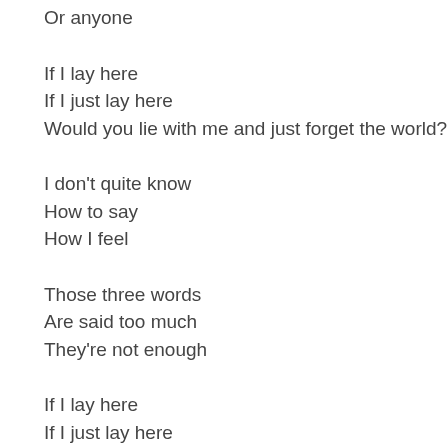Or anyone
If I lay here
If I just lay here
Would you lie with me and just forget the world?
I don't quite know
How to say
How I feel
Those three words
Are said too much
They're not enough
If I lay here
If I just lay here